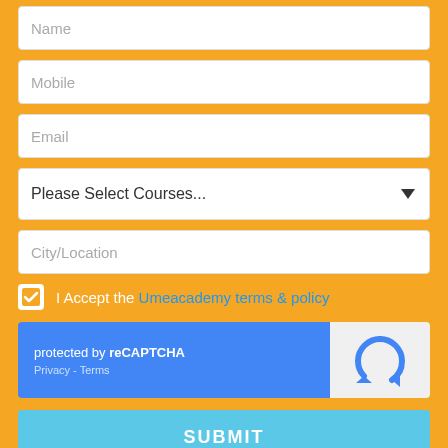Name
Mobile
Email
Please Select Courses...
City/Location
I Accept the Umeacademy terms & policy
[Figure (screenshot): reCAPTCHA widget with blue background showing 'protected by reCAPTCHA' text, Privacy and Terms links, and reCAPTCHA logo on right]
SUBMIT
LATEST ADMISSION
Need Help?
Annamalai University, (AU)